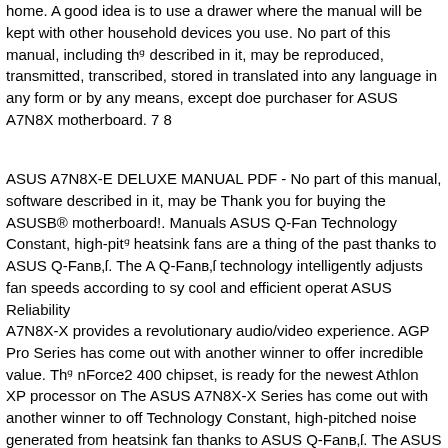home. A good idea is to use a drawer where the manual will be kept with other household devices you use. No part of this manual, including the described in it, may be reproduced, transmitted, transcribed, stored in translated into any language in any form or by any means, except doe purchaser for ASUS A7N8X motherboard. 7 8
ASUS A7N8X-E DELUXE MANUAL PDF - No part of this manual, software described in it, may be Thank you for buying the ASUSB® motherboard!. Manuals ASUS Q-Fan Technology Constant, high-pitch heatsink fans are a thing of the past thanks to ASUS Q-Fanв„ÿ. The A Q-Fanв„ÿ technology intelligently adjusts fan speeds according to sy cool and efficient operat ASUS Reliability
A7N8X-X provides a revolutionary audio/video experience. AGP Pro Series has come out with another winner to offer incredible value. The nForce2 400 chipset, is ready for the newest Athlon XP processor on The ASUS A7N8X-X Series has come out with another winner to off Technology Constant, high-pitched noise generated from heatsink fans thanks to ASUS Q-Fanв„ÿ. The ASUS A7N8X-E Deluxe with Q-Fan adjusts fan speeds according to system loading to ensure quiet, cool